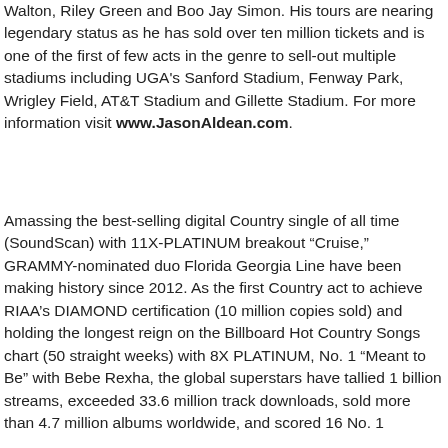Walton, Riley Green and Boo Jay Simon. His tours are nearing legendary status as he has sold over ten million tickets and is one of the first of few acts in the genre to sell-out multiple stadiums including UGA's Sanford Stadium, Fenway Park, Wrigley Field, AT&T Stadium and Gillette Stadium. For more information visit www.JasonAldean.com.
Amassing the best-selling digital Country single of all time (SoundScan) with 11X-PLATINUM breakout “Cruise,” GRAMMY-nominated duo Florida Georgia Line have been making history since 2012. As the first Country act to achieve RIAA’s DIAMOND certification (10 million copies sold) and holding the longest reign on the Billboard Hot Country Songs chart (50 straight weeks) with 8X PLATINUM, No. 1 “Meant to Be” with Bebe Rexha, the global superstars have tallied 1 billion streams, exceeded 33.6 million track downloads, sold more than 4.7 million albums worldwide, and scored 16 No. 1